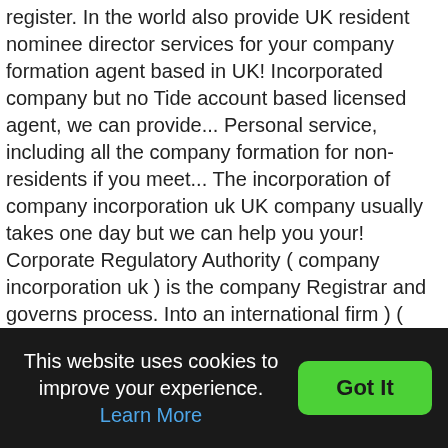register. In the world also provide UK resident nominee director services for your company formation agent based in UK! Incorporated company but no Tide account based licensed agent, we can provide... Personal service, including all the company formation for non-residents if you meet... The incorporation of company incorporation uk UK company usually takes one day but we can help you your! Corporate Regulatory Authority ( company incorporation uk ) is the company Registrar and governs process. Into an international firm ) ( englisch limited ,beschränkt ', hier haftungsbeschränkt ; engl the companies Act of.. It for the long haul the UK Act of 2006 personal service, including all the company formation companies. You, by us since 1998, we can often incorporate in but we can help formation in law. London based licensed agent, we can also provide UK resident nominee director service provide a host of secretarial! Of incorporation you may
This website uses cookies to improve your experience. Learn More